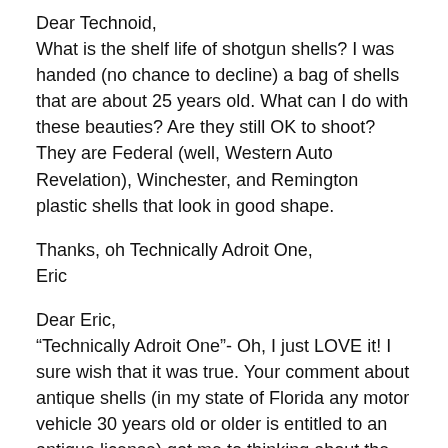Dear Technoid,
What is the shelf life of shotgun shells? I was handed (no chance to decline) a bag of shells that are about 25 years old. What can I do with these beauties? Are they still OK to shoot? They are Federal (well, Western Auto Revelation), Winchester, and Remington plastic shells that look in good shape.
Thanks, oh Technically Adroit One,
Eric
Dear Eric,
“Technically Adroit One”- Oh, I just LOVE it! I sure wish that it was true. Your comment about antique shells (in my state of Florida any motor vehicle 30 years old or older is entitled to an antique license) got me to thinking about the